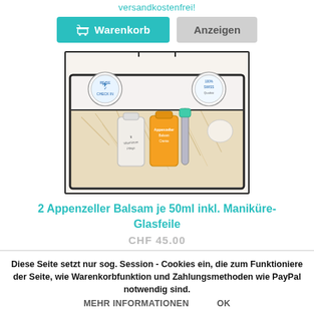versandkostenfrei!
Warenkorb  Anzeigen
[Figure (photo): Clear travel bag / toiletry kit containing two Appenzeller Balsam bottles (50ml each) nestled in straw packing, a glass nail file, and a small round item, with two circular certification stickers on upper corners. Black-framed transparent bag with handle strap.]
2 Appenzeller Balsam je 50ml inkl. Maniküre-Glasfeile
CHF 45.00
Diese Seite setzt nur sog. Session - Cookies ein, die zum Funktionieren der Seite, wie Warenkorbfunktion und Zahlungsmethoden wie PayPal notwendig sind.
MEHR INFORMATIONEN   OK